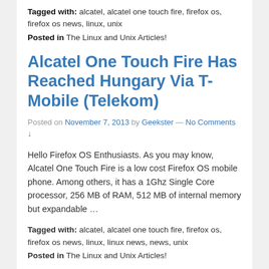Tagged with: alcatel, alcatel one touch fire, firefox os, firefox os news, linux, unix
Posted in The Linux and Unix Articles!
Alcatel One Touch Fire Has Reached Hungary Via T-Mobile (Telekom)
Posted on November 7, 2013 by Geekster — No Comments ↓
Hello Firefox OS Enthusiasts. As you may know, Alcatel One Touch Fire is a low cost Firefox OS mobile phone. Among others, it has a 1Ghz Single Core processor, 256 MB of RAM, 512 MB of internal memory but expandable  …
Tagged with: alcatel, alcatel one touch fire, firefox os, firefox os news, linux, linux news, news, unix
Posted in The Linux and Unix Articles!
‹ Older posts